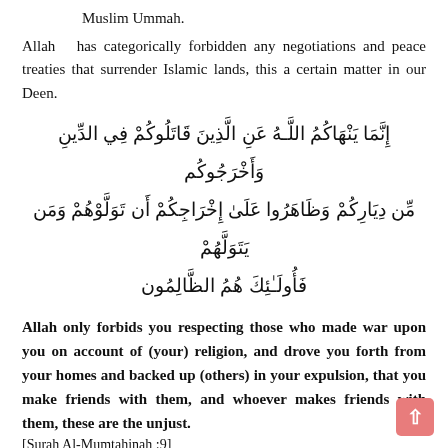Muslim Ummah.
Allah ﷻ has categorically forbidden any negotiations and peace treaties that surrender Islamic lands, this a certain matter in our Deen.
إِنَّمَا يَنْهَاكُمُ اللَّـهُ عَنِ الَّذِينَ قَاتَلُوكُمْ فِي الدِّينِ وَأَخْرَجُوكُم مِّن دِيَارِكُمْ وَظَاهَرُوا عَلَىٰ إِخْرَاجِكُمْ أَن تَوَلَّوْهُمْ وَمَن يَتَوَلَّهُمْ فَأُولَـٰئِكَ هُمُ الظَّالِمُون
Allah only forbids you respecting those who made war upon you on account of (your) religion, and drove you forth from your homes and backed up (others) in your expulsion, that you make friends with them, and whoever makes friends with them, these are the unjust.
[Surah Al-Mumtahinah :9]
Part 2